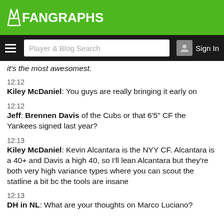FanGraphs
it's the most awesomest.
12:12
Kiley McDaniel: You guys are really bringing it early on
12:12
Jeff: Brennen Davis of the Cubs or that 6'5" CF the Yankees signed last year?
12:13
Kiley McDaniel: Kevin Alcantara is the NYY CF. Alcantara is a 40+ and Davis a high 40, so I'll lean Alcantara but they're both very high variance types where you can scout the statline a bit bc the tools are insane
12:13
DH in NL: What are your thoughts on Marco Luciano?